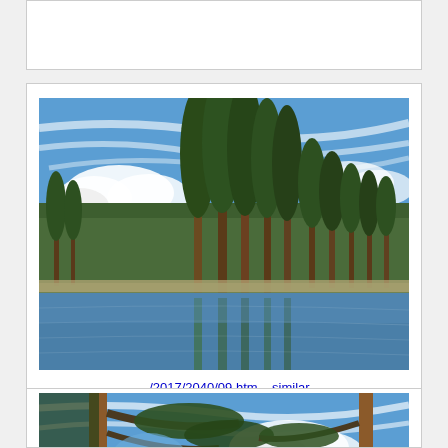[Figure (photo): Top portion of a card/result, cropped, showing white background area]
[Figure (photo): Photograph of Valkialampi Lake in Orekhovo, north from Saint Petersburg, Russia. Shows tall pine trees reflected in a calm lake with blue sky and white clouds.]
.../2017/2040/09.htm    similar
Valkialampi Lake in Orekhovo, north from Saint Petersburg. Russia, May 14, 2017
[Figure (photo): Partial bottom card showing a photograph of pine trees viewed from below against a blue sky with scattered clouds, cropped at page boundary.]